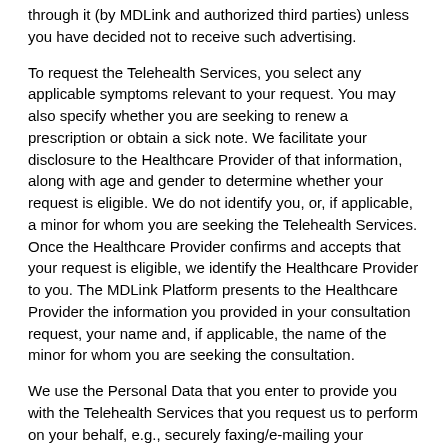through it (by MDLink and authorized third parties) unless you have decided not to receive such advertising.
To request the Telehealth Services, you select any applicable symptoms relevant to your request. You may also specify whether you are seeking to renew a prescription or obtain a sick note. We facilitate your disclosure to the Healthcare Provider of that information, along with age and gender to determine whether your request is eligible. We do not identify you, or, if applicable, a minor for whom you are seeking the Telehealth Services. Once the Healthcare Provider confirms and accepts that your request is eligible, we identify the Healthcare Provider to you. The MDLink Platform presents to the Healthcare Provider the information you provided in your consultation request, your name and, if applicable, the name of the minor for whom you are seeking the consultation.
We use the Personal Data that you enter to provide you with the Telehealth Services that you request us to perform on your behalf, e.g., securely faxing/e-mailing your prescription to your chosen pharmacy.